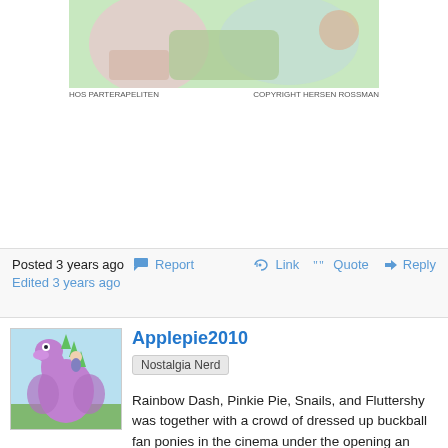[Figure (illustration): Animated scene showing ponies/characters at a table, partially visible at top of page]
HOS PARTERAPELITEN                          COPYRIGHT HERSEN ROSSMAN
Posted 3 years ago   Report                                Link  Quote  Reply
Edited 3 years ago
[Figure (illustration): Avatar image of a purple/green dragon character from My Little Pony]
Applepie2010
Nostalgia Nerd
Rainbow Dash, Pinkie Pie, Snails, and Fluttershy was together with a crowd of dressed up buckball fan ponies in the cinema under the opening an annual one week film festival in the Crystal Empire one morning in May. The crowd of morning horny ponies they all sat and held a white, creaking, shiny, round, Snails printed balloon under their hooves as the ponies watched Snail's two hour long movie Ponyville Team that was in competiton with other movies from all over Equestria. Snails was out of competition three years ago with the promo of the movie Derby VS Racers in the same cinema. There was also movies like a 4 hour long drama in the Fancy language from